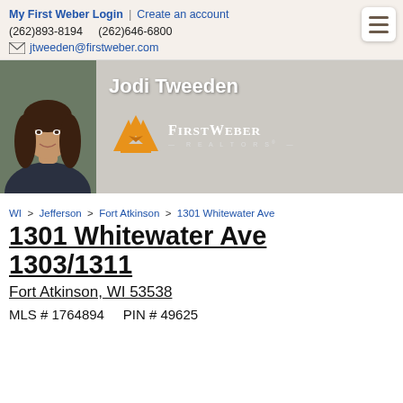My First Weber Login | Create an account
(262)893-8194   (262)646-6800
jtweeden@firstweber.com
[Figure (photo): Headshot photo of Jodi Tweeden, a woman with dark brown hair, smiling, wearing a dark navy top]
Jodi Tweeden
[Figure (logo): First Weber Realtors logo with orange triangular house/roof icon and white text]
WI > Jefferson > Fort Atkinson > 1301 Whitewater Ave
1301 Whitewater Ave 1303/1311
Fort Atkinson, WI 53538
MLS # 1764894    PIN # 49625
Sold price: